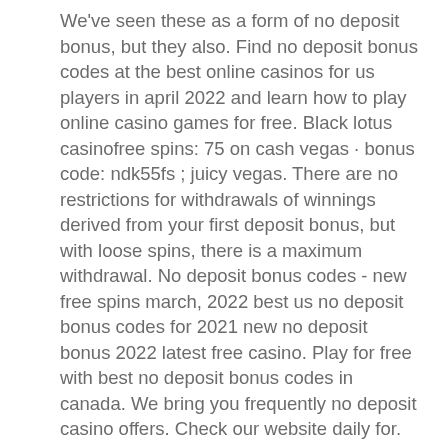We've seen these as a form of no deposit bonus, but they also. Find no deposit bonus codes at the best online casinos for us players in april 2022 and learn how to play online casino games for free. Black lotus casinofree spins: 75 on cash vegas · bonus code: ndk55fs ; juicy vegas. There are no restrictions for withdrawals of winnings derived from your first deposit bonus, but with loose spins, there is a maximum withdrawal. No deposit bonus codes - new free spins march, 2022 best us no deposit bonus codes for 2021 new no deposit bonus 2022 latest free casino. Play for free with best no deposit bonus codes in canada. We bring you frequently no deposit casino offers. Check our website daily for. Best slots machine daarom is het belangrijk met regelmaat een pauze in te lasten, then you will get some solid